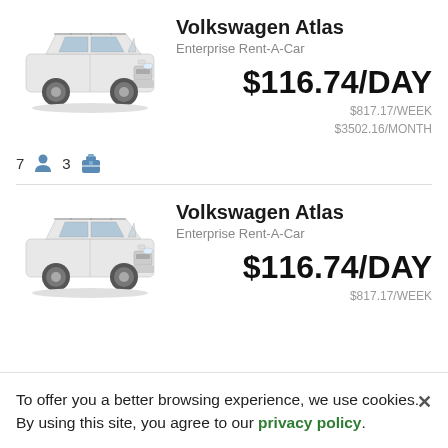[Figure (photo): Volkswagen Atlas white SUV car image, front 3/4 view]
Volkswagen Atlas
Enterprise Rent-A-Car
$116.74/DAY
$817.17/WEEK
$3502.16/MONTH
7 [person icon] 3 [bag icon]
[Figure (photo): Volkswagen Atlas white SUV car image, front 3/4 view]
Volkswagen Atlas
Enterprise Rent-A-Car
$116.74/DAY
$817.17/WEEK
To offer you a better browsing experience, we use cookies. By using this site, you agree to our privacy policy.